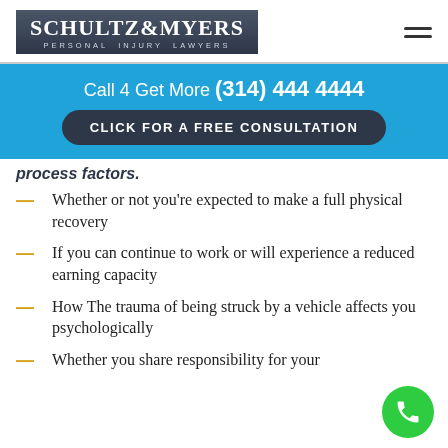Schultz & Myers Personal Injury Lawyers
Call 4 Get More (314) 444 4444
CLICK FOR A FREE CONSULTATION
process factors:
Whether or not you’re expected to make a full physical recovery
If you can continue to work or will experience a reduced earning capacity
How The trauma of being struck by a vehicle affects you psychologically
Whether you share responsibility for your